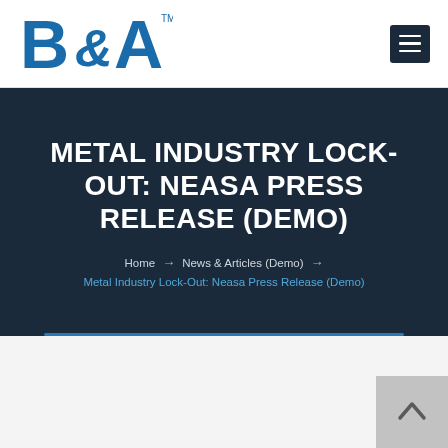[Figure (logo): B&A logo in blue with TM mark]
METAL INDUSTRY LOCK-OUT: NEASA PRESS RELEASE (DEMO)
Home → News & Articles (Demo) → Metal Industry Lock-Out: Neasa Press Release (Demo)